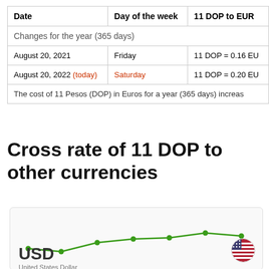| Date | Day of the week | 11 DOP to EUR |
| --- | --- | --- |
| August 20, 2021 | Friday | 11 DOP = 0.16 EU |
| August 20, 2022 (today) | Saturday | 11 DOP = 0.20 EU |
| The cost of 11 Pesos (DOP) in Euros for a year (365 days) increas |  |  |
Cross rate of 11 DOP to other currencies
[Figure (line-chart): Line chart showing exchange rate trend for USD, with 7 data points trending generally upward then slightly down]